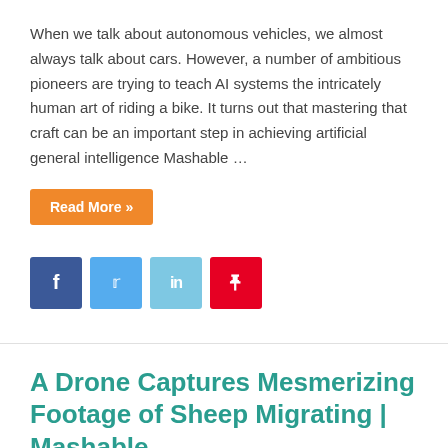When we talk about autonomous vehicles, we almost always talk about cars. However, a number of ambitious pioneers are trying to teach AI systems the intricately human art of riding a bike. It turns out that mastering that craft can be an important step in achieving artificial general intelligence Mashable …
Read More »
[Figure (other): Social share buttons: Facebook (blue), Twitter (light blue), LinkedIn (light blue), Pinterest (red)]
A Drone Captures Mesmerizing Footage of Sheep Migrating | Mashable
July 6, 2021   Geek Tech